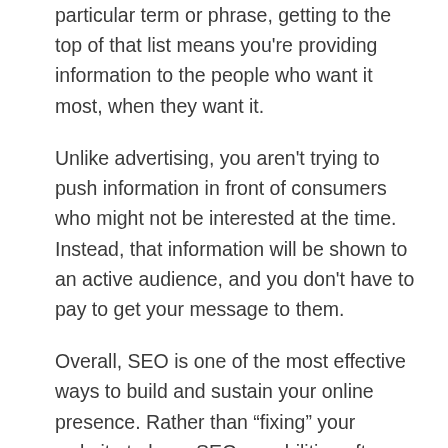particular term or phrase, getting to the top of that list means you're providing information to the people who want it most, when they want it.
Unlike advertising, you aren't trying to push information in front of consumers who might not be interested at the time. Instead, that information will be shown to an active audience, and you don't have to pay to get your message to them.
Overall, SEO is one of the most effective ways to build and sustain your online presence. Rather than “fixing” your website to have SEO capabilities after you’ve created content, we keep it top-of-mind at the start. By following best practices at the beginning, you’ll create interesting,